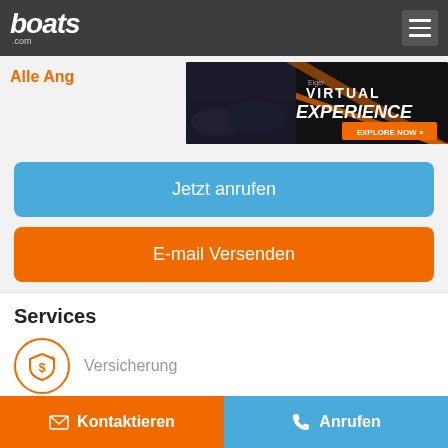boats.com
Alle Ang
[Figure (screenshot): Advertisement banner for Virtual Experience by Eiger with 'EXPLORE NOW >>' button on dark background with orange accents]
Jetzt anrufen
E-mail Versenden
Services
Versicherung
Kontaktieren
Anrufen